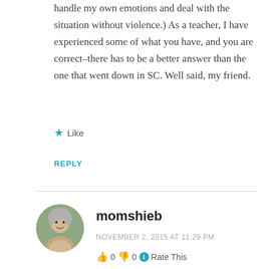handle my own emotions and deal with the situation without violence.) As a teacher, I have experienced some of what you have, and you are correct–there has to be a better answer than the one that went down in SC. Well said, my friend.
★ Like
REPLY
momshieb
NOVEMBER 2, 2015 AT 11:29 PM
👍 0 👎 0 ℹ Rate This